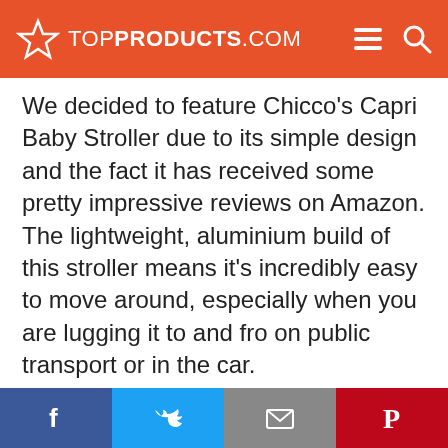TOPPRODUCTS.COM
We decided to feature Chicco's Capri Baby Stroller due to its simple design and the fact it has received some pretty impressive reviews on Amazon. The lightweight, aluminium build of this stroller means it's incredibly easy to move around, especially when you are lugging it to and fro on public transport or in the car.
The front wheels of this stroller also have wheel suspension, making even the